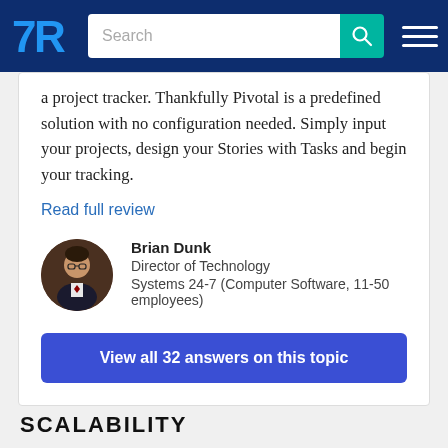TrustRadius navigation bar with search
a project tracker. Thankfully Pivotal is a predefined solution with no configuration needed. Simply input your projects, design your Stories with Tasks and begin your tracking.
Read full review
[Figure (photo): Circular avatar photo of Brian Dunk, a man in a suit]
Brian Dunk
Director of Technology
Systems 24-7 (Computer Software, 11-50 employees)
View all 32 answers on this topic
SCALABILITY